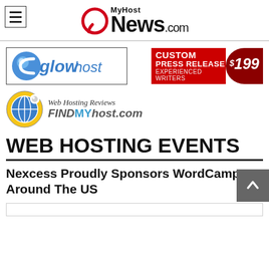MyHostNews.com
[Figure (logo): GlowHost banner ad with blue stylized text logo]
[Figure (logo): Custom Press Release $199 Experienced Writers red banner ad]
[Figure (logo): FindMyHost.com - Web Hosting Reviews logo with globe icon]
WEB HOSTING EVENTS
Nexcess Proudly Sponsors WordCamps Around The US